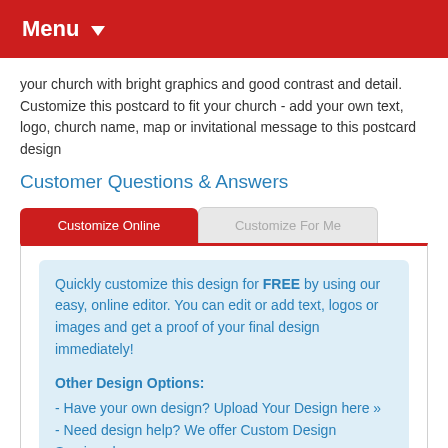Menu
your church with bright graphics and good contrast and detail. Customize this postcard to fit your church - add your own text, logo, church name, map or invitational message to this postcard design
Customer Questions & Answers
Customize Online | Customize For Me
Quickly customize this design for FREE by using our easy, online editor. You can edit or add text, logos or images and get a proof of your final design immediately!

Other Design Options:
- Have your own design? Upload Your Design here »»
- Need design help? We offer Custom Design Services here »»
- Feeling Creative? You can Build Your Design here »»
Size